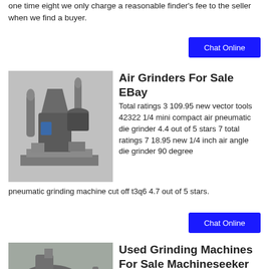one time eight we only charge a reasonable finder's fee to the seller when we find a buyer.
Chat Online
Air Grinders For Sale EBay
[Figure (photo): Industrial air grinder machine with dust collector and cyclone separator on a platform]
Total ratings 3 109.95 new vector tools 42322 1/4 mini compact air pneumatic die grinder 4.4 out of 5 stars 7 total ratings 7 18.95 new 1/4 inch air angle die grinder 90 degree pneumatic grinding machine cut off t3q6 4.7 out of 5 stars.
Chat Online
Used Grinding Machines For Sale Machineseeker
[Figure (photo): Large industrial grinding machine in a factory with yellow scaffolding]
The operating costs are extremely low here diamond grinding bits cost about 3 4 euro per piece and stand about 3 5 large images in granite a photo with the size of 300 x 230 mm requires a processing time of 40 50 minutes approximately pictures of 15 x 10 cm are already in about 12 15 minutes.